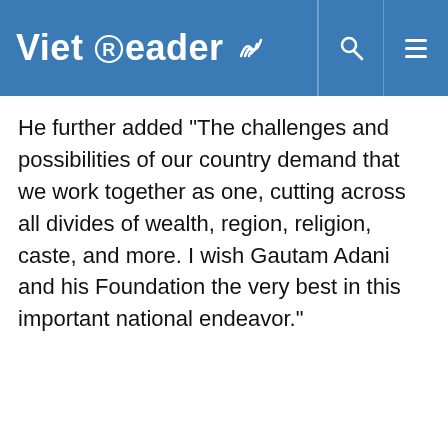VietReader
He further added "The challenges and possibilities of our country demand that we work together as one, cutting across all divides of wealth, region, religion, caste, and more. I wish Gautam Adani and his Foundation the very best in this important national endeavor."